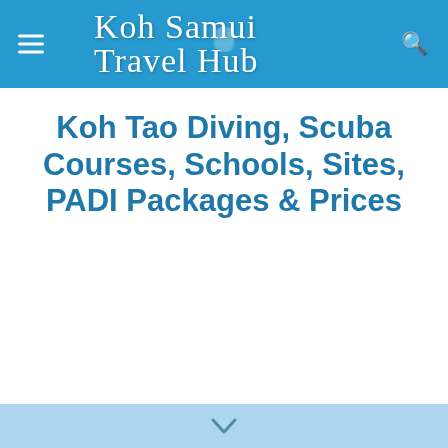Koh Samui Travel Hub
Koh Tao Diving, Scuba Courses, Schools, Sites, PADI Packages & Prices